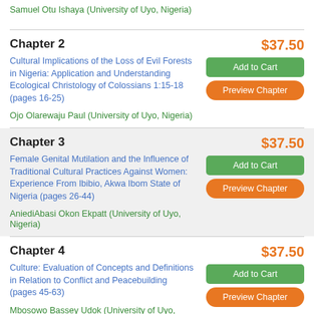Samuel Otu Ishaya (University of Uyo, Nigeria)
Chapter 2
$37.50
Cultural Implications of the Loss of Evil Forests in Nigeria: Application and Understanding Ecological Christology of Colossians 1:15-18 (pages 16-25)
Ojo Olarewaju Paul (University of Uyo, Nigeria)
Chapter 3
$37.50
Female Genital Mutilation and the Influence of Traditional Cultural Practices Against Women: Experience From Ibibio, Akwa Ibom State of Nigeria (pages 26-44)
AniediAbasi Okon Ekpatt (University of Uyo, Nigeria)
Chapter 4
$37.50
Culture: Evaluation of Concepts and Definitions in Relation to Conflict and Peacebuilding (pages 45-63)
Mbosowo Bassey Udok (University of Uyo,